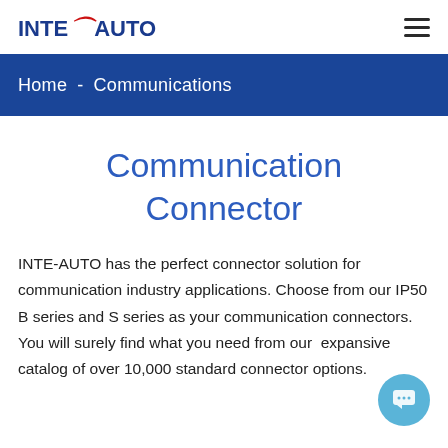INTE-AUTO
Home - Communications
Communication Connector
INTE-AUTO has the perfect connector solution for communication industry applications. Choose from our IP50 B series and S series as your communication connectors. You will surely find what you need from our  expansive catalog of over 10,000 standard connector options.